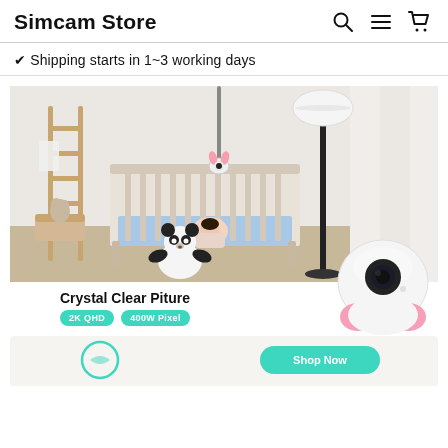Simcam Store
✔ Shipping starts in 1~3 working days
[Figure (photo): Nursery room with baby crib, wooden ladder, floor lamp, panda stuffed animal, and a baby monitor camera mounted above the crib. A Simcam baby monitor camera product is shown overlaid in the bottom right corner.]
Crystal Clear Piture
2K QHD  400W Pixel
[Figure (screenshot): Bottom section with light beige/gray background showing partial icons and a teal button, part of product feature section.]